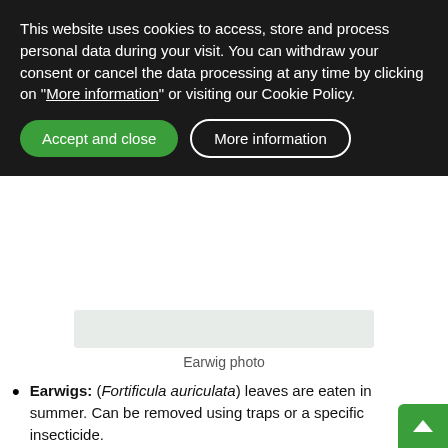This website uses cookies to access, store and process personal data during your visit. You can withdraw your consent or cancel the data processing at any time by clicking on "More information" or visiting our Cookie Policy.
Accept and close | More information
[Figure (photo): Light green/grey placeholder box for an earwig photo]
Earwig photo
Earwigs: (Fortificula auriculata) leaves are eaten in summer. Can be removed using traps or a specific insecticide.
Aphids: These are insects sucking mouth equipped with gadgets that feed on the sap of plants. They deposit their droppings on them that determines that these appear sticky and, in many cases, covered with ants that are attracted to the